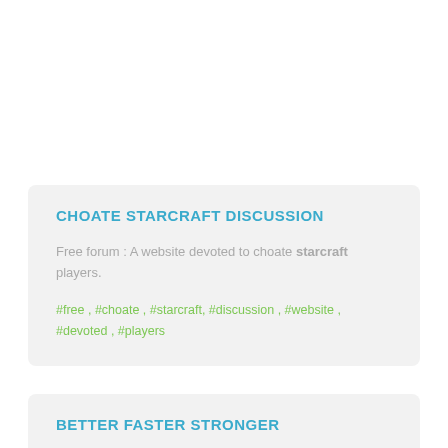CHOATE STARCRAFT DISCUSSION
Free forum : A website devoted to choate starcraft players.
#free , #choate , #starcraft, #discussion , #website , #devoted , #players
BETTER FASTER STRONGER
Starcraft 2 e-Sports team